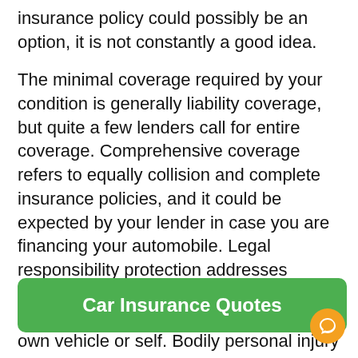insurance policy could possibly be an option, it is not constantly a good idea.
The minimal coverage required by your condition is generally liability coverage, but quite a few lenders call for entire coverage. Comprehensive coverage refers to equally collision and complete insurance policies, and it could be expected by your lender in case you are financing your automobile. Legal responsibility protection addresses damages to other people's property inside the event of a collision although not your own vehicle or self. Bodily personal injury liability and home destruction legal responsibility insurance plan could be combined to give you the best protection at an exceptionally acceptable value.
Car Insurance Quotes